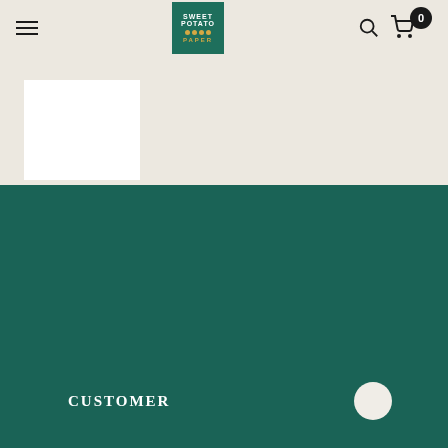Sweet Potato Paper - navigation header with hamburger menu, logo, search and cart
[Figure (logo): Sweet Potato Paper logo - green square with white text SWEET POTATO, gold dots, gold text PAPER]
[Figure (photo): White product card/image preview]
CUSTOMER
COMPANY
INFORMATION
Chat with us